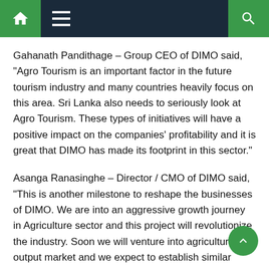Navigation bar with home, menu, and search icons
Gahanath Pandithage – Group CEO of DIMO said, “Agro Tourism is an important factor in the future tourism industry and many countries heavily focus on this area. Sri Lanka also needs to seriously look at Agro Tourism. These types of initiatives will have a positive impact on the companies’ profitability and it is great that DIMO has made its footprint in this sector.”
Asanga Ranasinghe – Director / CMO of DIMO said, “This is another milestone to reshape the businesses of DIMO. We are into an aggressive growth journey in Agriculture sector and this project will revolutionize the industry. Soon we will venture into agriculture output market and we expect to establish similar types of Agri Techno parks in the strategic locations of the country.”